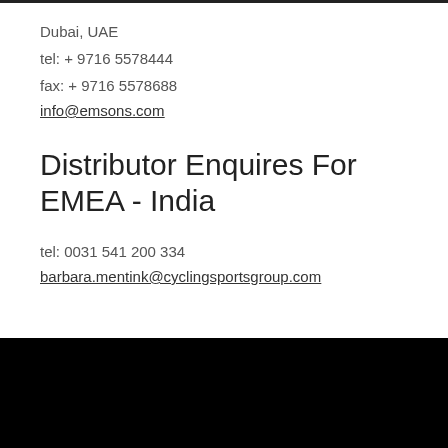Dubai, UAE
tel: + 9716 5578444
fax: + 9716 5578688
info@emsons.com
Distributor Enquires For EMEA - India
tel: 0031 541 200 334
barbara.mentink@cyclingsportsgroup.com